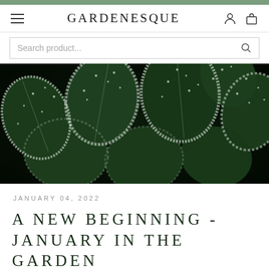GARDENESQUE
[Figure (photo): Close-up of frost-covered dark green leaves against a black background, creating a moody winter garden scene]
JANUARY 04, 2022
A NEW BEGINNING - JANUARY IN THE GARDEN